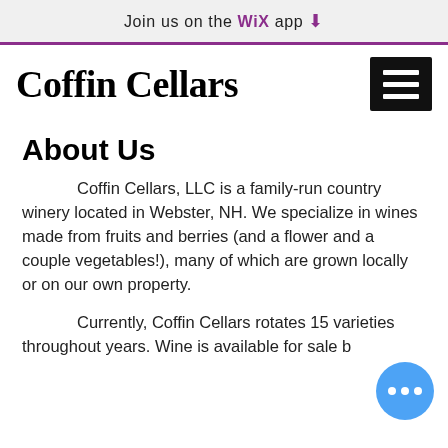Join us on the WiX app ⬇
Coffin Cellars
About Us
Coffin Cellars, LLC is a family-run country winery located in Webster, NH. We specialize in wines made from fruits and berries (and a flower and a couple vegetables!), many of which are grown locally or on our own property.
Currently, Coffin Cellars rotates 15 varieties throughout years. Wine is available for sale by ...